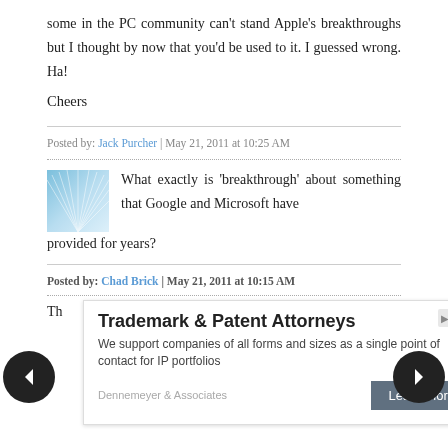some in the PC community can't stand Apple's breakthroughs but I thought by now that you'd be used to it. I guessed wrong. Ha!
Cheers
Posted by: Jack Purcher | May 21, 2011 at 10:25 AM
What exactly is 'breakthrough' about something that Google and Microsoft have provided for years?
Posted by: Chad Brick | May 21, 2011 at 10:15 AM
Th…
[Figure (other): Advertisement overlay for Dennemeyer & Associates: Trademark & Patent Attorneys. We support companies of all forms and sizes as a single point of contact for IP portfolios. Learn More button.]